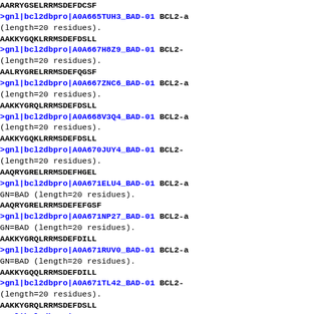AARRYGSELRRMSDEFDCSF
>gnl|bcl2dbpro|A0A665TUH3_BAD-01 BCL2-a
(length=20 residues).
AAKKYGQKLRRMSDEFDSLL
>gnl|bcl2dbpro|A0A667H8Z9_BAD-01 BCL2-
(length=20 residues).
AALRYGRELRRMSDEFQGSF
>gnl|bcl2dbpro|A0A667ZNC6_BAD-01 BCL2-a
(length=20 residues).
AAKKYGRQLRRMSDEFDSLL
>gnl|bcl2dbpro|A0A668V3Q4_BAD-01 BCL2-a
(length=20 residues).
AAKKYGQKLRRMSDEFDSLL
>gnl|bcl2dbpro|A0A670JUY4_BAD-01 BCL2-
(length=20 residues).
AAQRYGRELRRMSDEFHGEL
>gnl|bcl2dbpro|A0A671ELU4_BAD-01 BCL2-a
GN=BAD (length=20 residues).
AAQRYGRELRRMSDEFEGSF
>gnl|bcl2dbpro|A0A671NP27_BAD-01 BCL2-a
GN=BAD (length=20 residues).
AAKKYGRQLRRMSDEFDILL
>gnl|bcl2dbpro|A0A671RUV0_BAD-01 BCL2-a
GN=BAD (length=20 residues).
AAKKYGQQLRRMSDEFDILL
>gnl|bcl2dbpro|A0A671TL42_BAD-01 BCL2-
(length=20 residues).
AAKKYGRQLRRMSDEFDSLL
>gnl|bcl2dbpro|A0A672JQ68_BAD-01 BCL2-a
(length=20 residues).